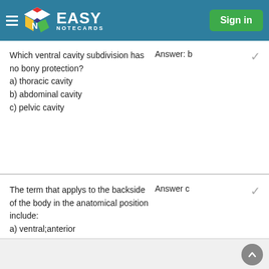Easy Notecards — Sign in
Which ventral cavity subdivision has no bony protection?
a) thoracic cavity
b) abdominal cavity
c) pelvic cavity
Answer: b
The term that applys to the backside of the body in the anatomical position include:
a) ventral;anterior
b) back;rear
c) posterior;dorsal
d) medial;lateral
Answer c